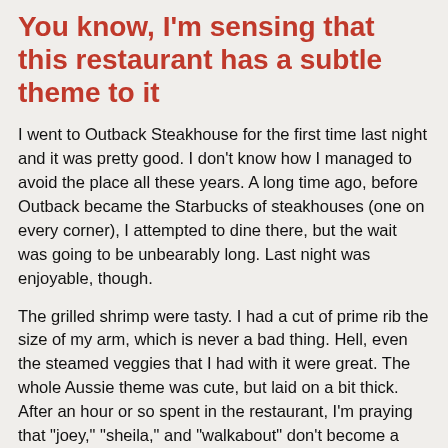You know, I'm sensing that this restaurant has a subtle theme to it
I went to Outback Steakhouse for the first time last night and it was pretty good. I don't know how I managed to avoid the place all these years. A long time ago, before Outback became the Starbucks of steakhouses (one on every corner), I attempted to dine there, but the wait was going to be unbearably long. Last night was enjoyable, though.
The grilled shrimp were tasty. I had a cut of prime rib the size of my arm, which is never a bad thing. Hell, even the steamed veggies that I had with it were great. The whole Aussie theme was cute, but laid on a bit thick. After an hour or so spent in the restaurant, I'm praying that "joey," "sheila," and "walkabout" don't become a permanent part of my lexicon. Still, it doesn't win the award for Theme Overload (that prize goes to the Excalibur Hotel and Casino in Vegas). Now if only they offered peanuts and you could just throw the shells on the floor...
Maybe I'll go shopping today. What's this Gap place that I've